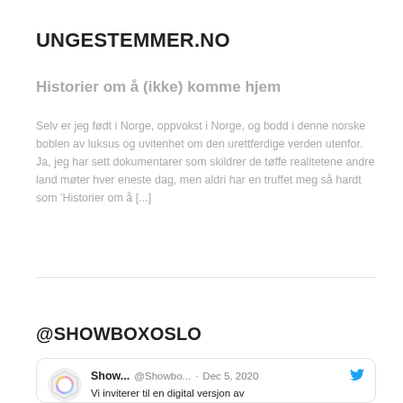UNGESTEMMER.NO
Historier om å (ikke) komme hjem
Selv er jeg født i Norge, oppvokst i Norge, og bodd i denne norske boblen av luksus og uvitenhet om den urettferdige verden utenfor. Ja, jeg har sett dokumentarer som skildrer de tøffe realitetene andre land møter hver eneste dag, men aldri har en truffet meg så hardt som 'Historier om å [...]
@SHOWBOXOSLO
Show... @Showbo... · Dec 5, 2020
Vi inviterer til en digital versjon av kjøkkenbordsamtalen: